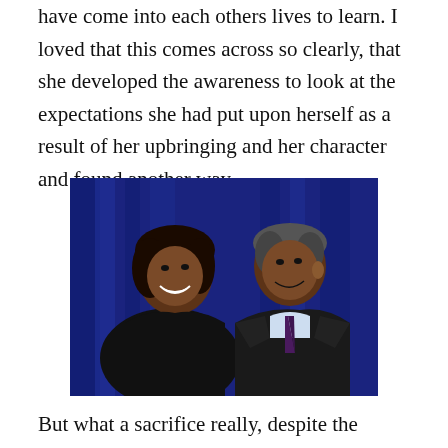have come into each others lives to learn. I loved that this comes across so clearly, that she developed the awareness to look at the expectations she had put upon herself as a result of her upbringing and her character and found another way.
[Figure (photo): A couple smiling at each other in formal attire against a blue draped background. A woman in a dark dress on the left and a man in a dark suit with a tie on the right.]
But what a sacrifice really, despite the perception of it being glamorous and of course privileged. What a relief to